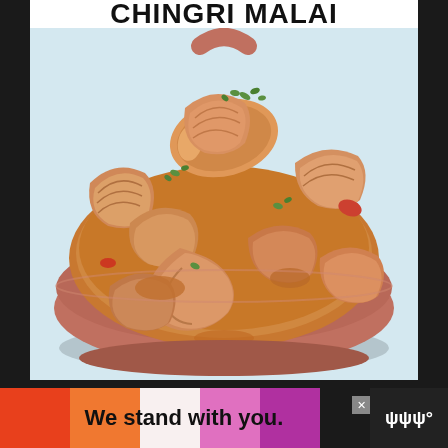CHINGRI MALAI
[Figure (photo): A clay bowl filled with Chingri Malai - large prawns/shrimp cooked in a rich orange-brown curry sauce, garnished with fresh green herbs, served in a round terracotta bowl on a light blue background]
[Figure (infographic): Advertisement banner with colorful horizontal color blocks (red, orange, white, pink, purple) and text 'We stand with you.' in bold black, with a close button and a logo on the right side]